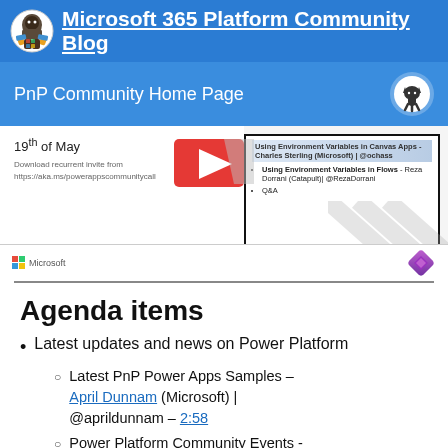Microsoft 365 Platform Community Blog
PnP Community Home Page
[Figure (screenshot): Screenshot of a community call slide showing '19th of May', a YouTube thumbnail, and an agenda list including 'Using Environment Variables in Canvas Apps - Charles Sterling (Microsoft) | @ochass', 'Using Environment Variables in Flows - Reza Dorrani (Catapult)| @RezaDorrani', 'Q&A'. Microsoft and Power Platform logos at bottom.]
Agenda items
Latest updates and news on Power Platform
Latest PnP Power Apps Samples – April Dunnam (Microsoft) | @aprildunnam – 2:58
Power Platform Community Events -